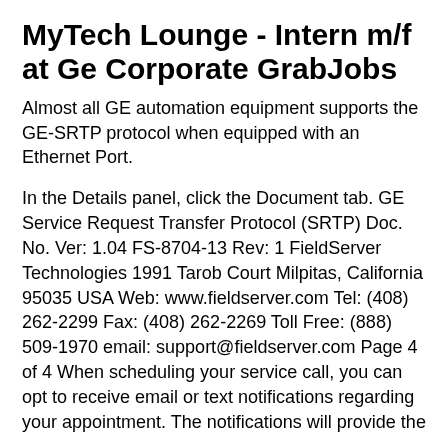MyTech Lounge - Intern m/f at Ge Corporate GrabJobs
Almost all GE automation equipment supports the GE-SRTP protocol when equipped with an Ethernet Port.
In the Details panel, click the Document tab. GE Service Request Transfer Protocol (SRTP) Doc. No. Ver: 1.04 FS-8704-13 Rev: 1 FieldServer Technologies 1991 Tarob Court Milpitas, California 95035 USA Web: www.fieldserver.com Tel: (408) 262-2299 Fax: (408) 262-2269 Toll Free: (888) 509-1970 email: support@fieldserver.com Page 4 of 4 When scheduling your service call, you can opt to receive email or text notifications regarding your appointment. The notifications will provide the